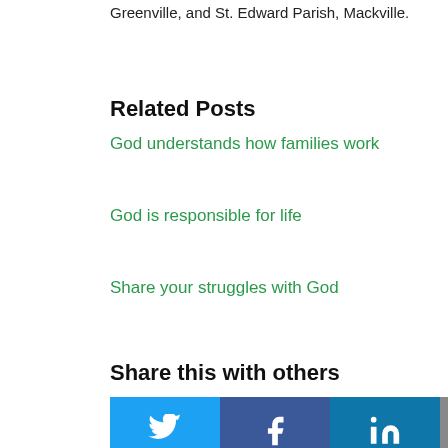Greenville, and St. Edward Parish, Mackville.
Related Posts
God understands how families work
God is responsible for life
Share your struggles with God
Share this with others
[Figure (infographic): Social share buttons: Twitter (blue), Facebook (dark blue), LinkedIn (blue), Email (gray), and a green scroll-to-top button]